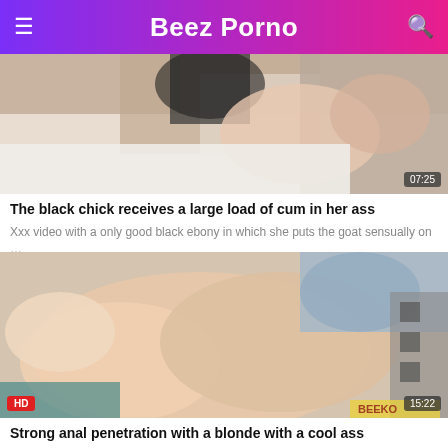Beez Porno
[Figure (photo): Thumbnail of adult video showing black chick, duration badge 07:25]
The black chick receives a large load of cum in her ass
Xxx video with a only good black ebony in which she puts the goat sensually on …
[Figure (photo): Thumbnail of adult video with blonde, HD badge, duration badge 15:22]
Strong anal penetration with a blonde with a cool ass